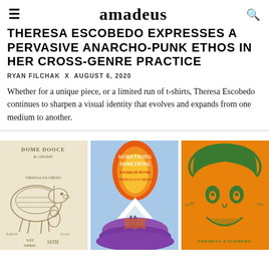amadeus
THERESA ESCOBEDO EXPRESSES A PERVASIVE ANARCHO-PUNK ETHOS IN HER CROSS-GENRE PRACTICE
RYAN FILCHAK  x  AUGUST 6, 2020
Whether for a unique piece, or a limited run of t-shirts, Theresa Escobedo continues to sharpen a visual identity that evolves and expands from one medium to another.
[Figure (illustration): Concert poster illustration in sepia/beige tones featuring an animal (armadillo or similar creature) playing guitar with psychedelic lettering]
[Figure (illustration): Psychedelic poster with blue background, orange and red flame-like lettering, purple liquid forms at the bottom]
[Figure (illustration): Orange background poster with green psychedelic face/portrait illustration and swirling lettering]